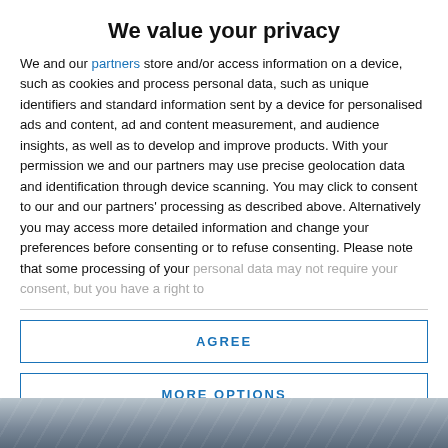We value your privacy
We and our partners store and/or access information on a device, such as cookies and process personal data, such as unique identifiers and standard information sent by a device for personalised ads and content, ad and content measurement, and audience insights, as well as to develop and improve products. With your permission we and our partners may use precise geolocation data and identification through device scanning. You may click to consent to our and our partners' processing as described above. Alternatively you may access more detailed information and change your preferences before consenting or to refuse consenting. Please note that some processing of your personal data may not require your consent, but you have a right to
AGREE
MORE OPTIONS
[Figure (photo): Dark background image at the bottom of the page, showing a blurred or decorative photograph.]